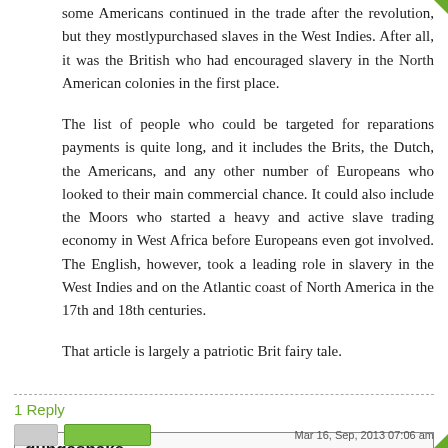some Americans continued in the trade after the revolution, but they mostlypurchased slaves in the West Indies. After all, it was the British who had encouraged slavery in the North American colonies in the first place.
The list of people who could be targeted for reparations payments is quite long, and it includes the Brits, the Dutch, the Americans, and any other number of Europeans who looked to their main commercial chance. It could also include the Moors who started a heavy and active slave trading economy in West Africa before Europeans even got involved. The English, however, took a leading role in slavery in the West Indies and on the Atlantic coast of North America in the 17th and 18th centuries.
That article is largely a patriotic Brit fairy tale.
1 Reply
gungasnake
Mar 16, Sep, 2013 07:06 am